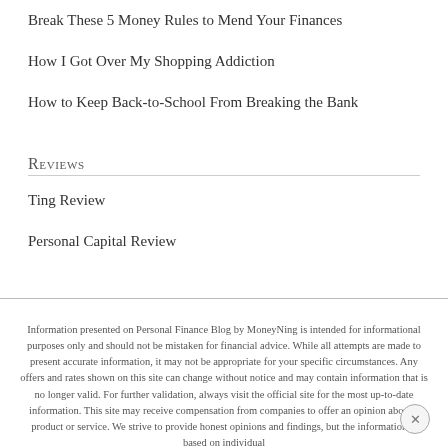Break These 5 Money Rules to Mend Your Finances
How I Got Over My Shopping Addiction
How to Keep Back-to-School From Breaking the Bank
Reviews
Ting Review
Personal Capital Review
Information presented on Personal Finance Blog by MoneyNing is intended for informational purposes only and should not be mistaken for financial advice. While all attempts are made to present accurate information, it may not be appropriate for your specific circumstances. Any offers and rates shown on this site can change without notice and may contain information that is no longer valid. For further validation, always visit the official site for the most up-to-date information. This site may receive compensation from companies to offer an opinion about a product or service. We strive to provide honest opinions and findings, but the information is based on individual